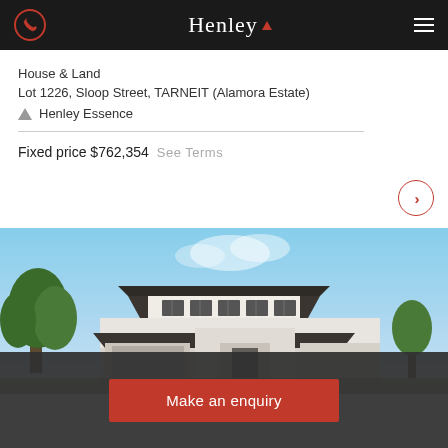Henley
House & Land
Lot 1226, Sloop Street, TARNEIT (Alamora Estate)
Henley Essence
Fixed price $762,354  See Terms
[Figure (photo): Exterior render of a modern two-storey house with dark roof, white facade, large windows, and trees in foreground against blue sky.]
Make an enquiry